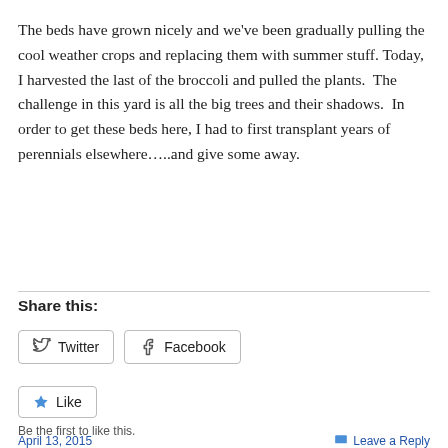The beds have grown nicely and we've been gradually pulling the cool weather crops and replacing them with summer stuff. Today, I harvested the last of the broccoli and pulled the plants.  The challenge in this yard is all the big trees and their shadows.  In order to get these beds here, I had to first transplant years of perennials elsewhere…..and give some away.
Share this:
Twitter  Facebook
Like
Be the first to like this.
April 13, 2015    Leave a Reply